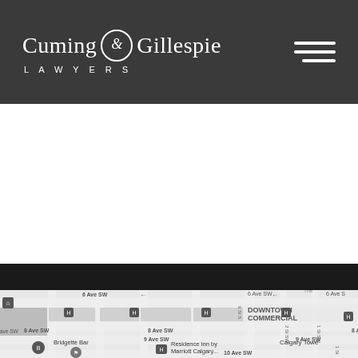Cuming & Gillespie LAWYERS
[Figure (map): Google Maps view of Downtown Calgary commercial district showing 6 Ave SW, 8 Ave SW, 9 Ave SW, 10 Ave SW, 2 St SW, 1 St SW streets with landmarks including Bridgette Bar, Residence Inn by Marriott Calgary, and Calgary Tower in a grayscale street map]